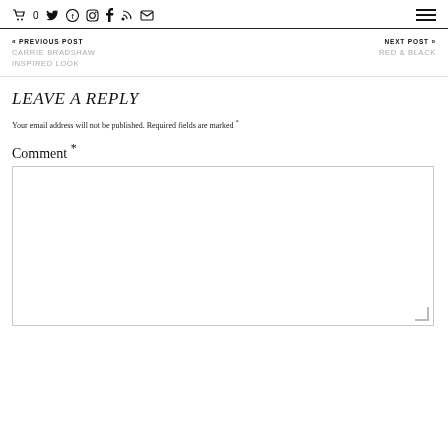🛒 0  Twitter  Facebook-circle  Instagram  Facebook  RSS  Email  ☰
« PREVIOUS POST
CARRIE BRADSHAW INSPIRED LOOK
NEXT POST »
RED & BLACK
LEAVE A REPLY
Your email address will not be published. Required fields are marked *
Comment *